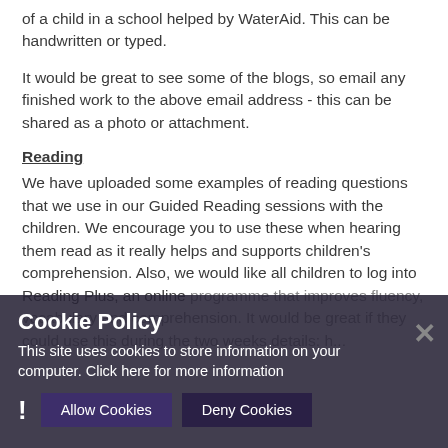of a child in a school helped by WaterAid. This can be handwritten or typed.
It would be great to see some of the blogs, so email any finished work to the above email address - this can be shared as a photo or attachment.
Reading
We have uploaded some examples of reading questions that we use in our Guided Reading sessions with the children. We encourage you to use these when hearing them read as it really helps and supports children's comprehension. Also, we would like all children to log into Reading Plus, an online programme that improves fluency, vocabulary and comprehension. It would be great if they could use this during the two weeks details: h...
Cookie Policy
This site uses cookies to store information on your computer. Click here for more information
[Allow Cookies] [Deny Cookies]